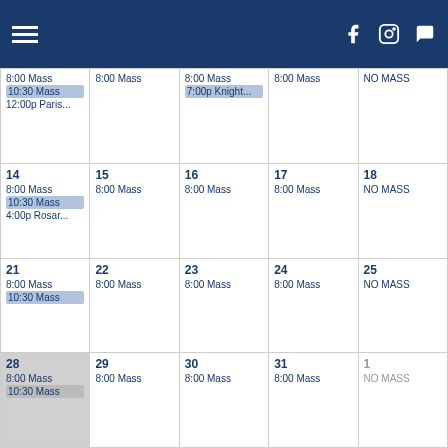Navigation header with hamburger menu and social icons (Facebook, Instagram, chat)
| Sun | Mon | Tue | Wed | Thu |
| --- | --- | --- | --- | --- |
| 8:00 Mass
10:30 Mass
12:00p Paris... | 8:00 Mass | 8:00 Mass
7:00p Knight... | 8:00 Mass | NO MASS |
| 14
8:00 Mass
10:30 Mass
4:00p Rosar... | 15
8:00 Mass | 16
8:00 Mass | 17
8:00 Mass | 18
NO MASS |
| 21
8:00 Mass
10:30 Mass | 22
8:00 Mass | 23
8:00 Mass | 24
8:00 Mass | 25
NO MASS |
| 28
8:00 Mass
10:30 Mass | 29
8:00 Mass | 30
8:00 Mass | 31
8:00 Mass | 1
NO MASS |